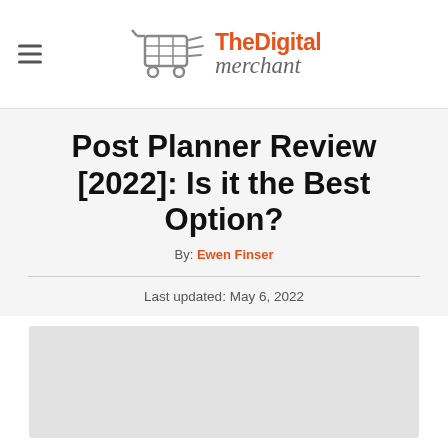TheDigital merchant
Post Planner Review [2022]: Is it the Best Option?
By: Ewen Finser
Last updated: May 6, 2022
[Figure (photo): Gray placeholder image area at bottom of page]